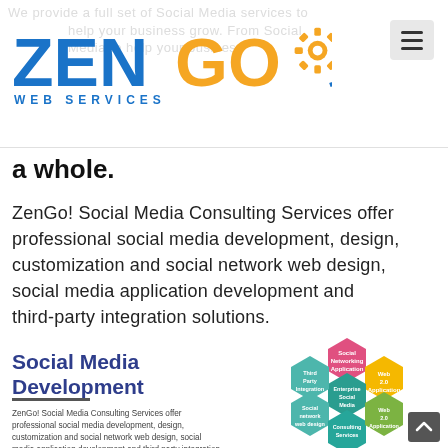ZenGo Web Services
a whole.
ZenGo! Social Media Consulting Services offer professional social media development, design, customization and social network web design, social media application development and third-party integration solutions.
Social Media Development
ZenGo! Social Media Consulting Services offer professional social media development, design, customization and social network web design, social media application development and third party integration solutions. ZenGo! furnishes best in the business media sites to lend rocket speed growth to any business as a whole.
[Figure (infographic): Hexagonal infographic showing Social Media services: Social Networking Application (pink/red), Web 2.0 Application (yellow), Enterprise Social Media (teal center), Third Party Integration (teal), Social network web design (teal), Consulting Services (teal), Web 2.0 Application (green)]